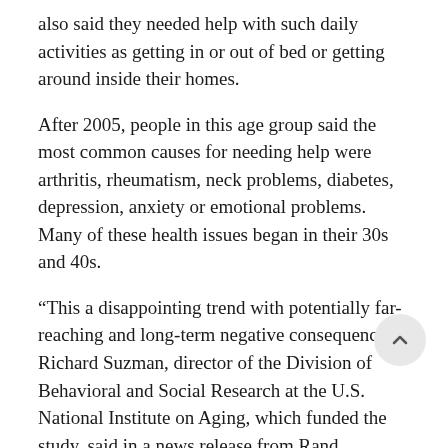also said they needed help with such daily activities as getting in or out of bed or getting around inside their homes.
After 2005, people in this age group said the most common causes for needing help were arthritis, rheumatism, neck problems, diabetes, depression, anxiety or emotional problems. Many of these health issues began in their 30s and 40s.
“This a disappointing trend with potentially far-reaching and long-term negative consequences,” Richard Suzman, director of the Division of Behavioral and Social Research at the U.S. National Institute on Aging, which funded the study, said in a news release from Rand.
“If people have such difficulties in middle age,